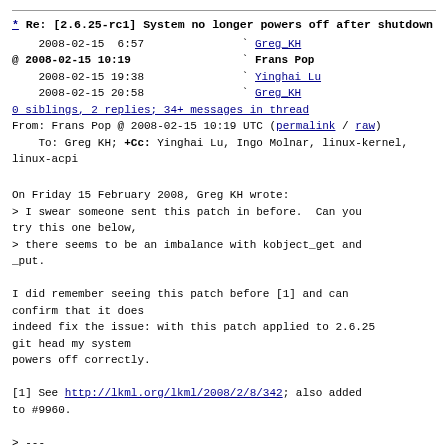* Re: [2.6.25-rc1] System no longer powers off after shutdown
2008-02-15  6:57   Greg KH
@ 2008-02-15 10:19   Frans Pop
  2008-02-15 19:38    Yinghai Lu
  2008-02-15 20:58    Greg KH
0 siblings, 2 replies; 34+ messages in thread
From: Frans Pop @ 2008-02-15 10:19 UTC (permalink / raw)
  To: Greg KH; +Cc: Yinghai Lu, Ingo Molnar, linux-kernel, linux-acpi
On Friday 15 February 2008, Greg KH wrote:
> I swear someone sent this patch in before.  Can you try this one below,
> there seems to be an imbalance with kobject_get and _put.

I did remember seeing this patch before [1] and can confirm that it does
indeed fix the issue: with this patch applied to 2.6.25 git head my system
powers off correctly.

[1] See http://lkml.org/lkml/2008/2/8/342; also added to #9960.

> ---